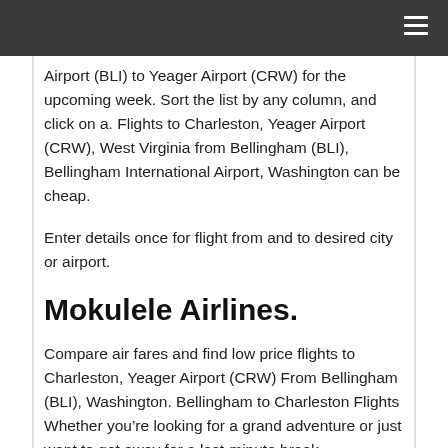Airport (BLI) to Yeager Airport (CRW) for the upcoming week. Sort the list by any column, and click on a. Flights to Charleston, Yeager Airport (CRW), West Virginia from Bellingham (BLI), Bellingham International Airport, Washington can be cheap.
Enter details once for flight from and to desired city or airport.
Mokulele Airlines.
Compare air fares and find low price flights to Charleston, Yeager Airport (CRW) From Bellingham (BLI), Washington. Bellingham to Charleston Flights Whether you’re looking for a grand adventure or just want to get away for a last-minute break,